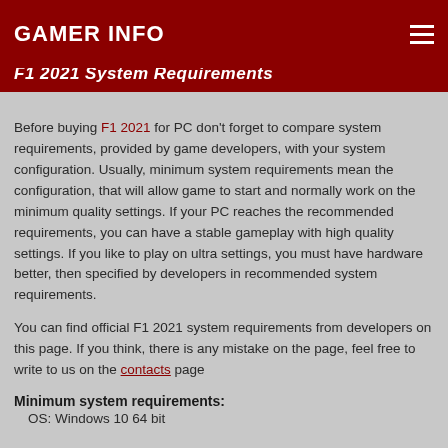GAMER INFO
F1 2021 System Requirements
Before buying F1 2021 for PC don't forget to compare system requirements, provided by game developers, with your system configuration. Usually, minimum system requirements mean the configuration, that will allow game to start and normally work on the minimum quality settings. If your PC reaches the recommended requirements, you can have a stable gameplay with high quality settings. If you like to play on ultra settings, you must have hardware better, then specified by developers in recommended system requirements.
You can find official F1 2021 system requirements from developers on this page. If you think, there is any mistake on the page, feel free to write to us on the contacts page
Minimum system requirements:
OS: Windows 10 64 bit